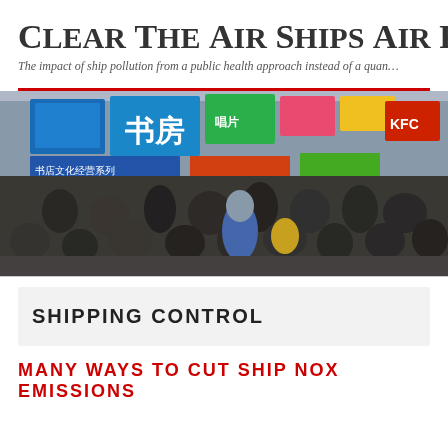Clear The Air Ships Air Pollu…
The impact of ship pollution from a public health approach instead of a quan…
[Figure (photo): Crowded Hong Kong street scene with colorful Chinese signage and a large crowd of pedestrians. Signs include Chinese characters for a bookstore (书房) and various commercial signs. A KFC sign is visible in the background.]
SHIPPING CONTROL
MANY WAYS TO CUT SHIP NOX EMISSIONS